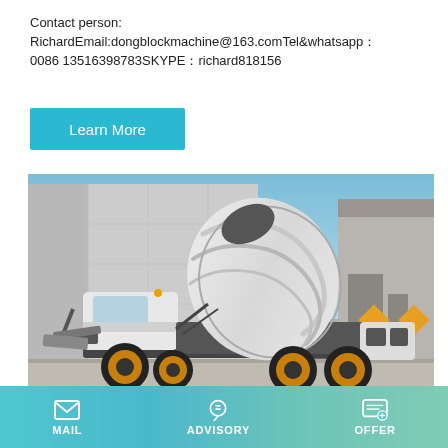Contact person:
RichardEmail:dongblockmachine@163.comTel&whatsapp：0086 13516398783SKYPE：richard818156
Learn More
[Figure (photo): Self-loading concrete mixer truck, white body with yellow wheels, parked in a yard in front of an industrial building. The large rotating drum is raised and the truck has a compact cab.]
MAIL   ADVISORY   OFFER